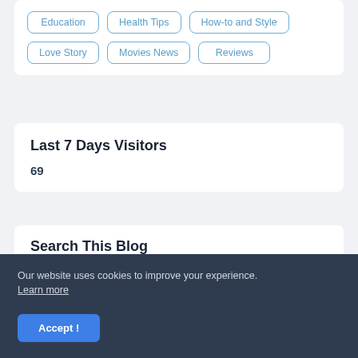Education
Health Tips
How-to and Style
Love Story
Movies News
Reviews
Last 7 Days Visitors
69
Search This Blog
Search
Our website uses cookies to improve your experience. Learn more
Accept !